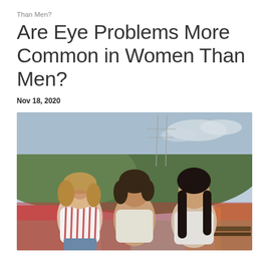Than Men?
Are Eye Problems More Common in Women Than Men?
Nov 18, 2020
[Figure (photo): Three women laughing and talking together outdoors, sitting in front of a colorful tulip field with mountains and power lines visible in the background. The woman on the left wears a red and white striped shirt, the woman in the middle wears a white tank top, and the woman on the right has long dark hair and wears a white top.]